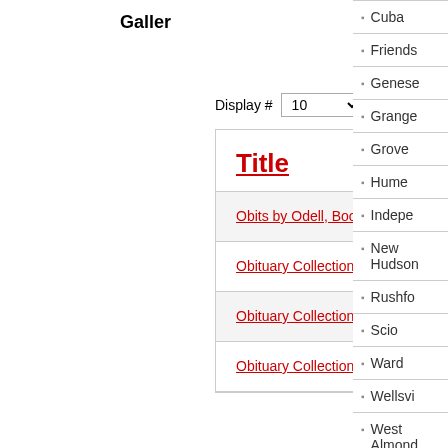Galler
Display # 10
| Title |
| --- |
| Obits by Odell, Book 4, Miscl |
| Obituary Collection I (Book 3) - Loie Foster Clark Odell |
| Obituary Collection I (Book 2) - Loie Foster Clark Odell |
| Obituary Collection I (Book 1) - Loie Foster Clark Odell |
Cuba
Friends
Genese
Grange
Grove
Hume
Indepe
New Hudson
Rushfo
Scio
Ward
Wellsvi
West Almond
Willing